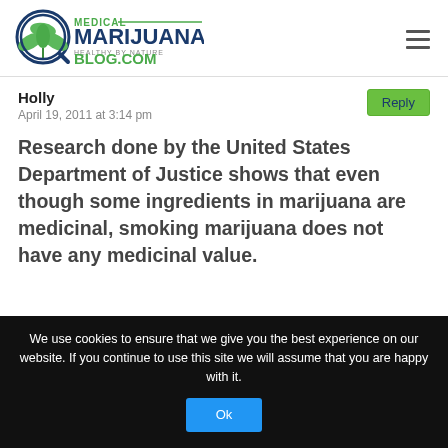[Figure (logo): Medical Marijuana Blog.com logo with cannabis leaf icon and tagline 'Healthy by Nature']
Holly
April 19, 2011 at 3:14 pm
Reply
Research done by the United States Department of Justice shows that even though some ingredients in marijuana are medicinal, smoking marijuana does not have any medicinal value.
We use cookies to ensure that we give you the best experience on our website. If you continue to use this site we will assume that you are happy with it.
Ok